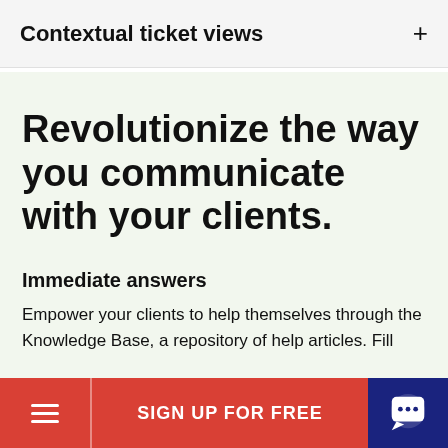Contextual ticket views
Revolutionize the way you communicate with your clients.
Immediate answers
Empower your clients to help themselves through the Knowledge Base, a repository of help articles. Fill
SIGN UP FOR FREE